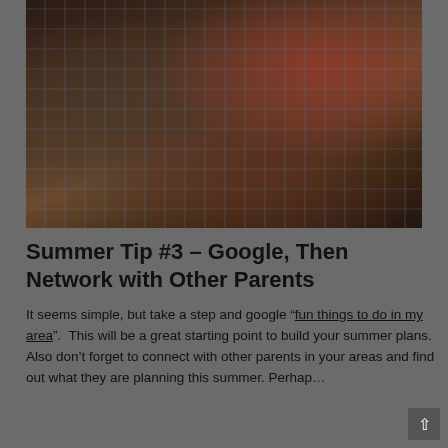[Figure (photo): Dark photograph of a child's hand drawing or writing with chalk on pavement/ground, showing a grid-like chalked pattern on the surface. The child is wearing a red sleeve visible on the right side.]
Summer Tip #3 – Google, Then Network with Other Parents
It seems simple, but take a step and google "fun things to do in my area".  This will be a great starting point to build your summer plans. Also don't forget to connect with other parents in your areas and find out what they are planning this summer. Perhap…